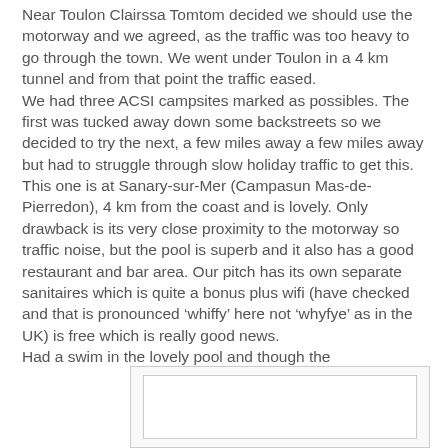Near Toulon Clairssa Tomtom decided we should use the motorway and we agreed, as the traffic was too heavy to go through the town. We went under Toulon in a 4 km tunnel and from that point the traffic eased.
We had three ACSI campsites marked as possibles. The first was tucked away down some backstreets so we decided to try the next, a few miles away a few miles away but had to struggle through slow holiday traffic to get this. This one is at Sanary-sur-Mer (Campasun Mas-de-Pierredon), 4 km from the coast and is lovely. Only drawback is its very close proximity to the motorway so traffic noise, but the pool is superb and it also has a good restaurant and bar area. Our pitch has its own separate sanitaires which is quite a bonus plus wifi (have checked and that is pronounced 'whiffy' here not 'whyfye' as in the UK) is free which is really good news.
Had a swim in the lovely pool and though the
[Figure (photo): Partially visible image/photo placeholder with nested border box]